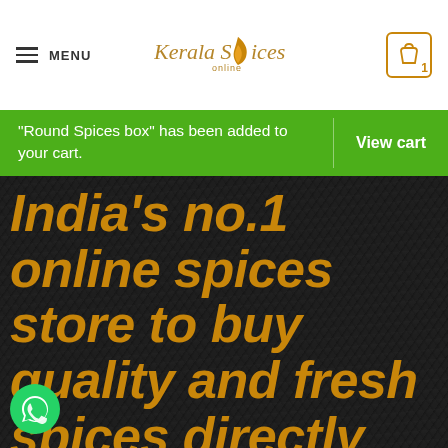MENU | Kerala Spices Online | Cart: 1
“Round Spices box” has been added to your cart.
View cart
India’s no.1 online spices store to buy quality and fresh spices directly from Kerala at a lower rate.